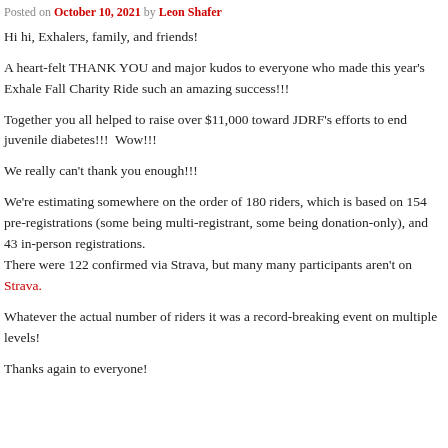Posted on October 10, 2021 by Leon Shafer
Hi hi, Exhalers, family, and friends!
A heart-felt THANK YOU and major kudos to everyone who made this year's Exhale Fall Charity Ride such an amazing success!!!
Together you all helped to raise over $11,000 toward JDRF's efforts to end juvenile diabetes!!!  Wow!!!
We really can't thank you enough!!!
We're estimating somewhere on the order of 180 riders, which is based on 154 pre-registrations (some being multi-registrant, some being donation-only), and 43 in-person registrations. There were 122 confirmed via Strava, but many many participants aren't on Strava.
Whatever the actual number of riders it was a record-breaking event on multiple levels!
Thanks again to everyone!